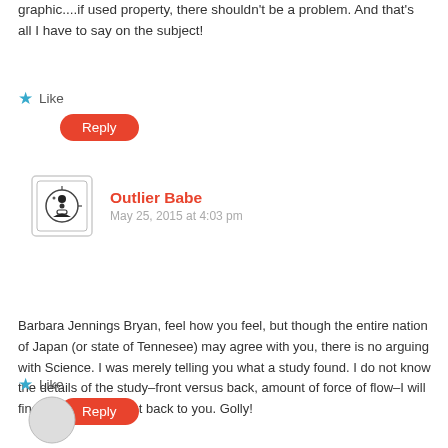graphic....if used property, there shouldn't be a problem. And that's all I have to say on the subject!
Like
Reply
Outlier Babe
May 25, 2015 at 4:03 pm
Barbara Jennings Bryan, feel how you feel, but though the entire nation of Japan (or state of Tennesee) may agree with you, there is no arguing with Science. I was merely telling you what a study found. I do not know the details of the study–front versus back, amount of force of flow–I will find the study and get back to you. Golly!
Like
Reply